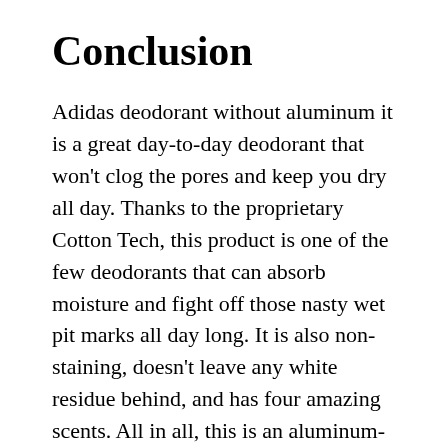Conclusion
Adidas deodorant without aluminum it is a great day-to-day deodorant that won't clog the pores and keep you dry all day. Thanks to the proprietary Cotton Tech, this product is one of the few deodorants that can absorb moisture and fight off those nasty wet pit marks all day long. It is also non-staining, doesn't leave any white residue behind, and has four amazing scents. All in all, this is an aluminum-free deodorant that works just as well as an antiperspirant and doesn't break the bank either. We're sold!